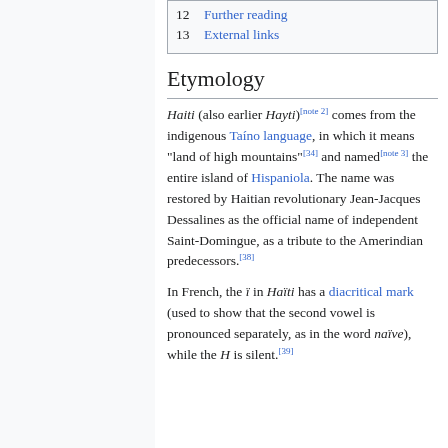12 Further reading
13 External links
Etymology
Haiti (also earlier Hayti)[note 2] comes from the indigenous Taíno language, in which it means "land of high mountains"[34] and named[note 3] the entire island of Hispaniola. The name was restored by Haitian revolutionary Jean-Jacques Dessalines as the official name of independent Saint-Domingue, as a tribute to the Amerindian predecessors.[38]
In French, the ï in Haïti has a diacritical mark (used to show that the second vowel is pronounced separately, as in the word naïve), while the H is silent.[39]